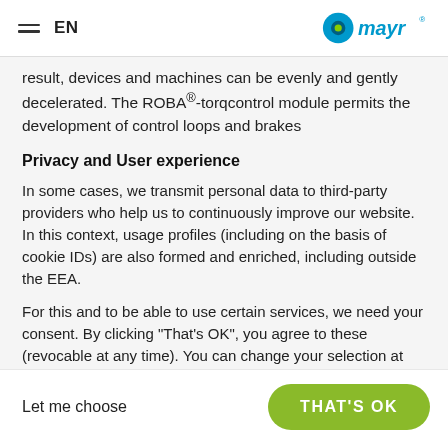EN — mayr® logo
result, devices and machines can be evenly and gently decelerated. The ROBA®-torqcontrol module permits the development of control loops and brakes
Privacy and User experience
In some cases, we transmit personal data to third-party providers who help us to continuously improve our website. In this context, usage profiles (including on the basis of cookie IDs) are also formed and enriched, including outside the EEA.
For this and to be able to use certain services, we need your consent. By clicking "That's OK", you agree to these (revocable at any time). You can change your selection at any time under "Privacy" at the bottom of the page.
Let me choose
THAT'S OK